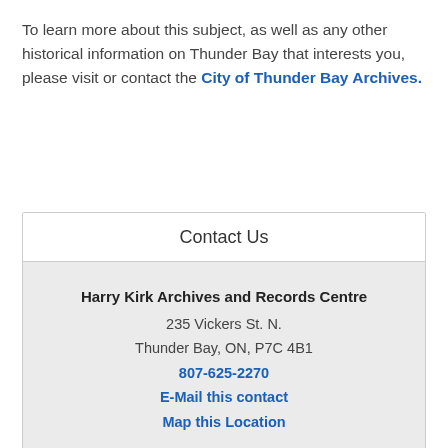To learn more about this subject, as well as any other historical information on Thunder Bay that interests you, please visit or contact the City of Thunder Bay Archives.
| Contact Us |
| --- |
| Harry Kirk Archives and Records Centre | 235 Vickers St. N. | Thunder Bay, ON, P7C 4B1 | 807-625-2270 | E-Mail this contact | Map this Location |